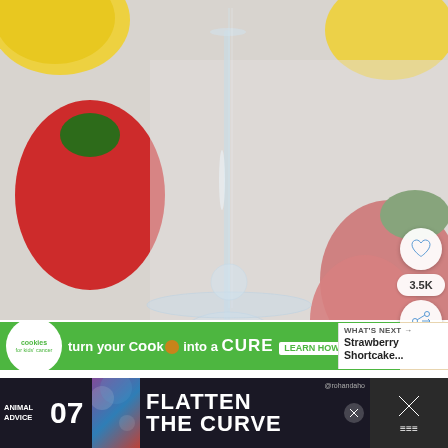[Figure (photo): Close-up photo of crystal cocktail glasses with strawberries and lemon slices arranged around them on a white surface. Two martini-style glasses visible, one upright showing the stem and base, one inverted. Red strawberries and yellow lemon halves surround the glasses.]
[Figure (infographic): Social media UI overlay buttons on the right side of the photo: a circular heart/like button, a '3.5K' count badge, and a circular share button with a share icon.]
[Figure (infographic): Green advertisement banner for 'Cookies for Kids' Cancer': 'turn your Cookies into a CURE LEARN HOW'. Logo on left with circular cookies icon.]
WHAT'S NEXT → Strawberry Shortcake...
[Figure (infographic): Dark bottom banner advertisement: 'ANIMAL ADVICE 07' on left, 'FLATTEN THE CURVE' large text in center, @rohandaho handle, with a close X button on far right.]